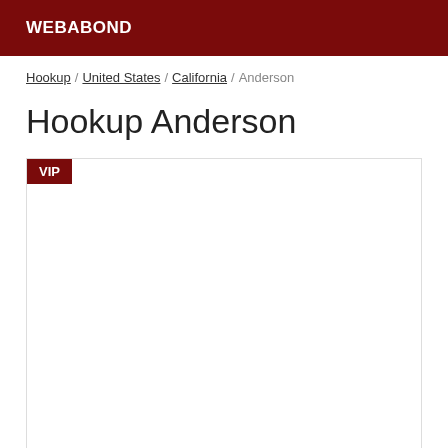WEBABOND
Hookup / United States / California / Anderson
Hookup Anderson
[Figure (other): A white card area with a VIP badge in the top-left corner. The card is outlined with a light grey border and is otherwise blank/empty.]